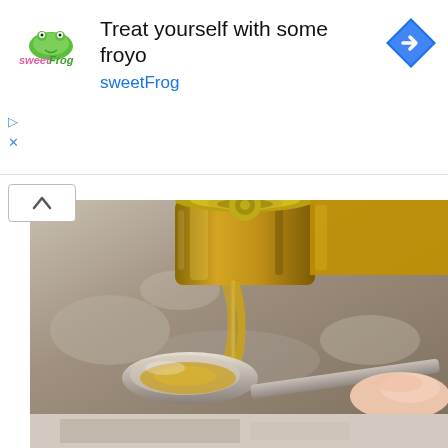[Figure (infographic): sweetFrog frozen yogurt advertisement banner with logo, text 'Treat yourself with some froyo sweetFrog', and blue diamond arrow icon on right]
[Figure (photo): Close-up photo of olive oil being poured from a glass bottle onto a metal spoon held by a hand, with blurred stone background]
Men: Forget the Blue Pill, This Fixes Your ED Like Crazy! (Do This)
[Figure (photo): Partially visible second photo below, showing a blurred interior scene]